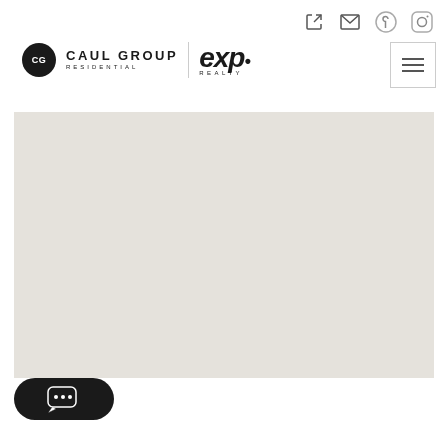[Figure (logo): Caul Group Residential logo with circular emblem and eXp Realty logo side by side]
[Figure (screenshot): Gray map placeholder area showing a light beige/gray blank map region]
[Figure (other): Dark rounded chat button with speech bubble dots icon in lower left corner]